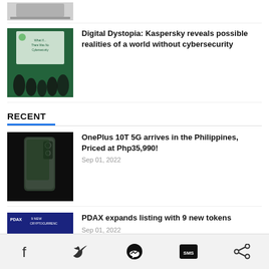[Figure (photo): Partial thumbnail of a laptop/device at the top of the page]
[Figure (photo): Kaspersky event photo showing people at a presentation screen about cybersecurity]
Digital Dystopia: Kaspersky reveals possible realities of a world without cybersecurity
RECENT
[Figure (photo): OnePlus 10T 5G smartphone on dark background]
OnePlus 10T 5G arrives in the Philippines, Priced at Php35,990!
Sep 01, 2022
[Figure (photo): PDAX cryptocurrency listing advertisement banner]
PDAX expands listing with 9 new tokens
Sep 01, 2022
[Figure (photo): Anito Legends Early Access banner]
Anito Legends Early Access Is Out Now!